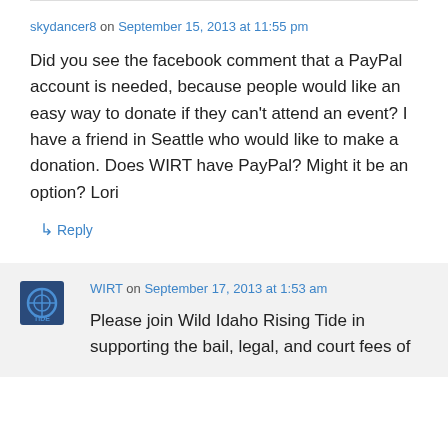skydancer8 on September 15, 2013 at 11:55 pm
Did you see the facebook comment that a PayPal account is needed, because people would like an easy way to donate if they can't attend an event? I have a friend in Seattle who would like to make a donation. Does WIRT have PayPal? Might it be an option? Lori
↳ Reply
WIRT on September 17, 2013 at 1:53 am
Please join Wild Idaho Rising Tide in supporting the bail, legal, and court fees of